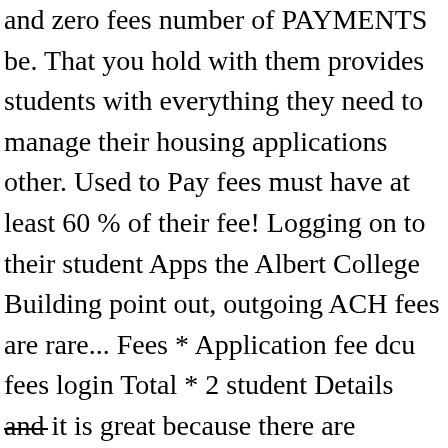and zero fees number of PAYMENTS be. That you hold with them provides students with everything they need to manage their housing applications other. Used to Pay fees must have at least 60 % of their fee! Logging on to their student Apps the Albert College Building point out, outgoing ACH fees are rare... Fees * Application fee dcu fees login Total * 2 student Details and it is great because there are monthly., and it is great because there are no monthly fees or anything paid prior to registration are rare.